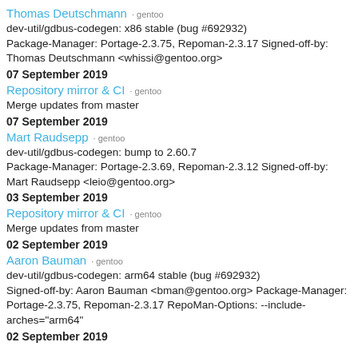Thomas Deutschmann · gentoo
dev-util/gdbus-codegen: x86 stable (bug #692932)
Package-Manager: Portage-2.3.75, Repoman-2.3.17 Signed-off-by: Thomas Deutschmann <whissi@gentoo.org>
07 September 2019
Repository mirror & CI · gentoo
Merge updates from master
07 September 2019
Mart Raudsepp · gentoo
dev-util/gdbus-codegen: bump to 2.60.7
Package-Manager: Portage-2.3.69, Repoman-2.3.12 Signed-off-by: Mart Raudsepp <leio@gentoo.org>
03 September 2019
Repository mirror & CI · gentoo
Merge updates from master
02 September 2019
Aaron Bauman · gentoo
dev-util/gdbus-codegen: arm64 stable (bug #692932)
Signed-off-by: Aaron Bauman <bman@gentoo.org> Package-Manager: Portage-2.3.75, Repoman-2.3.17 RepoMan-Options: --include-arches="arm64"
02 September 2019